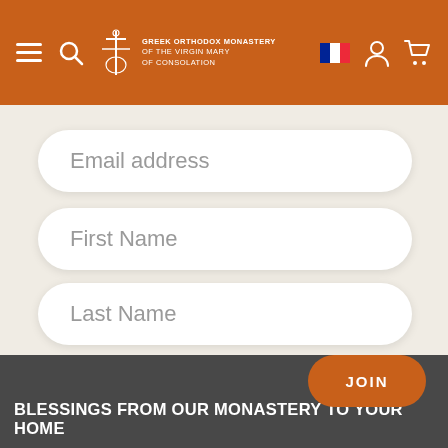[Figure (screenshot): Website header with orange background containing hamburger menu, search icon, Greek Orthodox Monastery of the Virgin Mary of Consolation logo, French flag icon, user icon, and cart icon]
Email address
First Name
Last Name
JOIN
BLESSINGS FROM OUR MONASTERY TO YOUR HOME